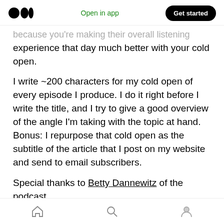Medium logo | Open in app | Get started
...because you're making their overall listening experience that day much better with your cold open.
I write ~200 characters for my cold open of every episode I produce. I do it right before I write the title, and I try to give a good overview of the angle I'm taking with the topic at hand. Bonus: I repurpose that cold open as the subtitle of the article that I post on my website and send to email subscribers.
Special thanks to Betty Dannewitz of the podcast...
Home | Search | Profile